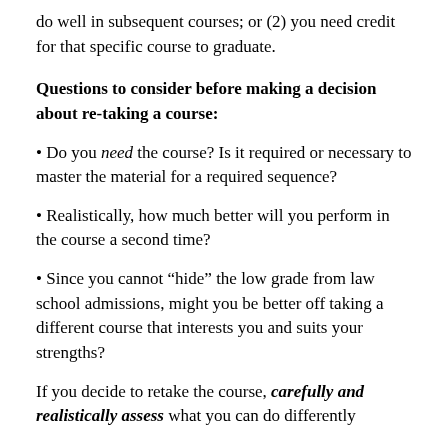do well in subsequent courses; or (2) you need credit for that specific course to graduate.
Questions to consider before making a decision about re-taking a course:
Do you need the course? Is it required or necessary to master the material for a required sequence?
Realistically, how much better will you perform in the course a second time?
Since you cannot “hide” the low grade from law school admissions, might you be better off taking a different course that interests you and suits your strengths?
If you decide to retake the course, carefully and realistically assess what you can do differently